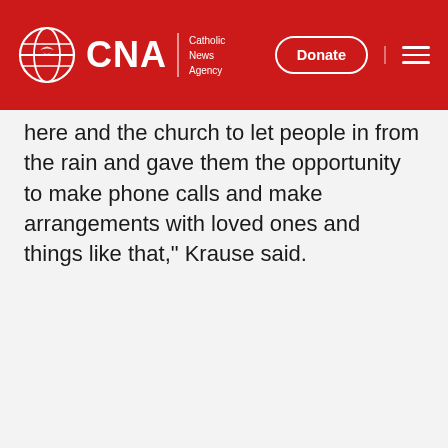CNA | Catholic News Agency | Donate
here and the church to let people in from the rain and gave them the opportunity to make phone calls and make arrangements with loved ones and things like that," Krause said.